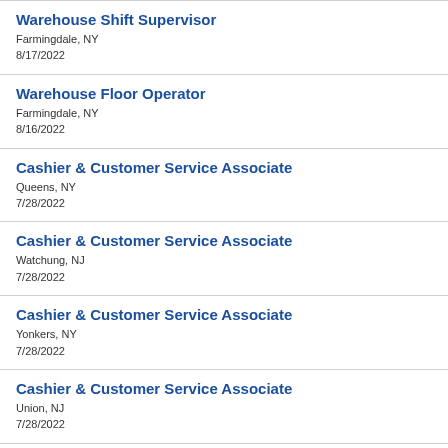Warehouse Shift Supervisor
Farmingdale, NY
8/17/2022
Warehouse Floor Operator
Farmingdale, NY
8/16/2022
Cashier & Customer Service Associate
Queens, NY
7/28/2022
Cashier & Customer Service Associate
Watchung, NJ
7/28/2022
Cashier & Customer Service Associate
Yonkers, NY
7/28/2022
Cashier & Customer Service Associate
Union, NJ
7/28/2022
Stock Associate